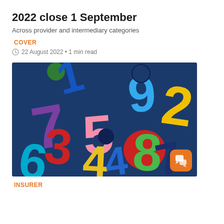2022 close 1 September
Across provider and intermediary categories
COVER
22 August 2022 • 1 min read
[Figure (photo): Colorful foam number digits (0-9) scattered on a dark blue background, various colors including purple, red, blue, green, yellow, pink]
INSURER